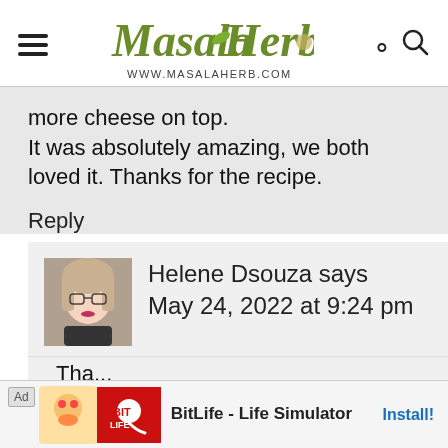[Figure (logo): Masala Herb website logo with stylized text and herbs, URL www.MasalaHerb.com]
more cheese on top.
It was absolutely amazing, we both loved it. Thanks for the recipe.
Reply
[Figure (photo): Avatar photo of Helene Dsouza, a woman with glasses]
Helene Dsouza says
May 24, 2022 at 9:24 pm
Tha...
[Figure (screenshot): Ad banner: BitLife - Life Simulator with Install! button]